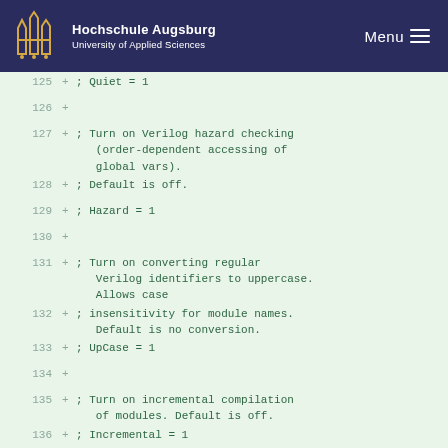Hochschule Augsburg University of Applied Sciences | Menu
125  +  ; Quiet = 1
126  +
127  +  ; Turn on Verilog hazard checking (order-dependent accessing of global vars).
128  +  ; Default is off.
129  +  ; Hazard = 1
130  +
131  +  ; Turn on converting regular Verilog identifiers to uppercase. Allows case
132  +  ; insensitivity for module names. Default is no conversion.
133  +  ; UpCase = 1
134  +
135  +  ; Turn on incremental compilation of modules. Default is off.
136  +  ; Incremental = 1
137  +
138  +  ; Turns on lint-style checking.